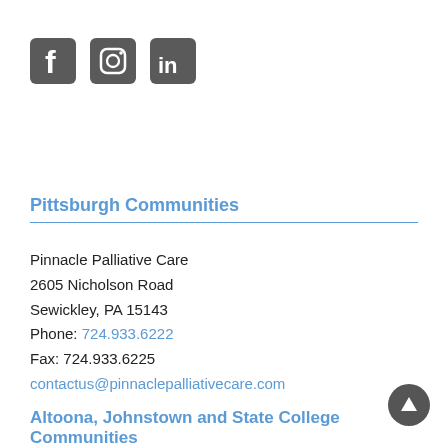[Figure (logo): Three social media icons: Facebook (f), Instagram (camera/circle), LinkedIn (in), all in dark gray square rounded-rectangle style]
Pittsburgh Communities
Pinnacle Palliative Care
2605 Nicholson Road
Sewickley, PA 15143
Phone: 724.933.6222
Fax: 724.933.6225
contactus@pinnaclepalliativecare.com
Altoona, Johnstown and State College Communities